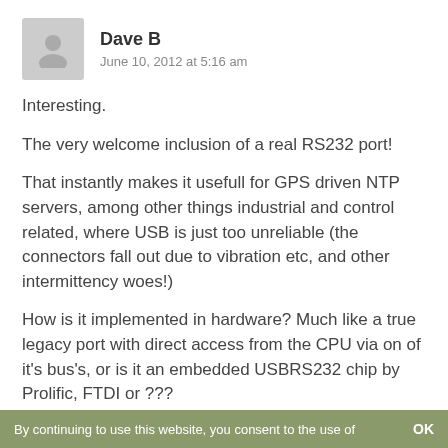[Figure (illustration): Gray avatar/profile placeholder icon of a person silhouette]
Dave B
June 10, 2012 at 5:16 am
Interesting.
The very welcome inclusion of a real RS232 port!
That instantly makes it usefull for GPS driven NTP servers, among other things industrial and control related, where USB is just too unreliable (the connectors fall out due to vibration etc, and other intermittency woes!)
How is it implemented in hardware? Much like a true legacy port with direct access from the CPU via on of it's bus's, or is it an embedded USBRS232 chip by Prolific, FTDI or ???
Only ask, as for GPSDNTP use, “Real” interrupts are
By continuing to use this website, you consent to the use of    OK